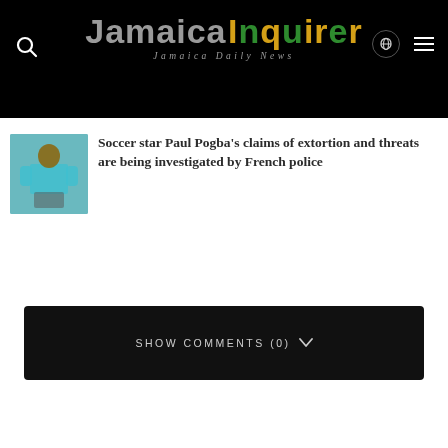Jamaica Inquirer — Jamaica Daily News
[Figure (photo): Thumbnail photo of Paul Pogba in sports gear]
Soccer star Paul Pogba's claims of extortion and threats are being investigated by French police
SHOW COMMENTS (0)